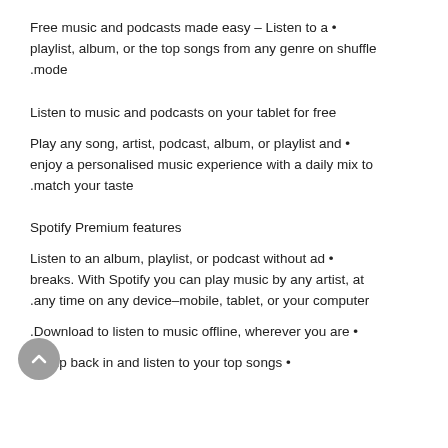Free music and podcasts made easy – Listen to a playlist, album, or the top songs from any genre on shuffle mode.
Listen to music and podcasts on your tablet for free
Play any song, artist, podcast, album, or playlist and enjoy a personalised music experience with a daily mix to match your taste.
Spotify Premium features
Listen to an album, playlist, or podcast without ad breaks. With Spotify you can play music by any artist, at any time on any device–mobile, tablet, or your computer.
Download to listen to music offline, wherever you are.
Jump back in and listen to your top songs.